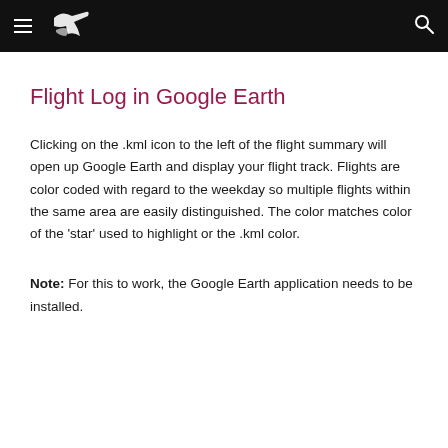Flight Log in Google Earth — navigation bar
Flight Log in Google Earth
Clicking on the .kml icon to the left of the flight summary will open up Google Earth and display your flight track. Flights are color coded with regard to the weekday so multiple flights within the same area are easily distinguished. The color matches color of the 'star' used to highlight or the .kml color.
Note: For this to work, the Google Earth application needs to be installed.